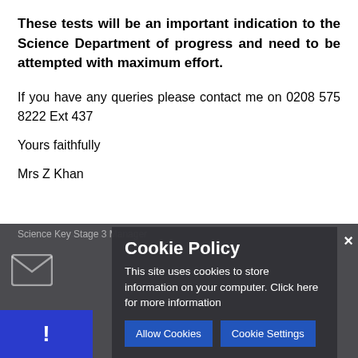These tests will be an important indication to the Science Department of progress and need to be attempted with maximum effort.
If you have any queries please contact me on 0208 575 8222 Ext 437
Yours faithfully
Mrs Z Khan
[Figure (screenshot): Cookie policy overlay on a dark background showing 'Science Key Stage 3 Manager' faded text, an email icon, a Cookie Policy popup with Allow Cookies and Cookie Settings buttons, a close X button, and a blue exclamation box at bottom left.]